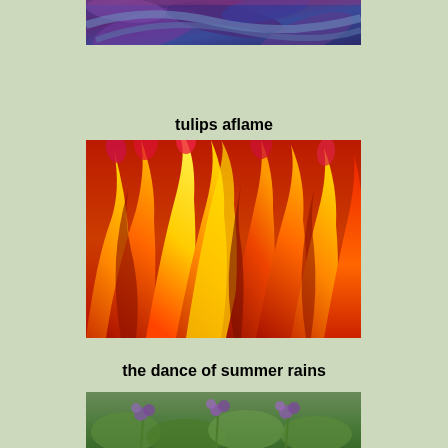[Figure (photo): Close-up photo of purple and blue abstract floral or organic shapes, cropped at top of page]
tulips aflame
[Figure (photo): Close-up photo of tulips that appear flame-like, in vivid shades of red, orange, and yellow, filling the frame dramatically]
the dance of summer rains
[Figure (photo): Partial photo visible at bottom of page showing green foliage and purple flowers, cropped]